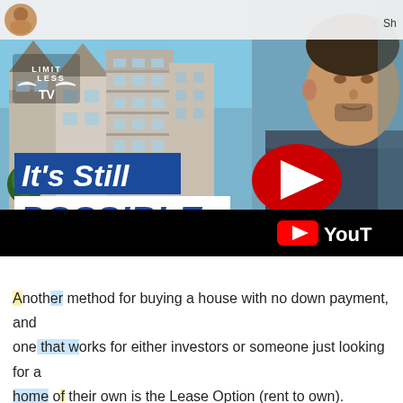[Figure (screenshot): YouTube video thumbnail titled 'How To Get A Home Loan With Bad Credit' showing houses and a man with overlay text 'It's Still POSSIBLE' and a red play button, with YouTube logo bar at bottom]
Another method for buying a house with no down payment, and one that works for either investors or someone just looking for a home of their own is the Lease Option (rent to own). attorney bill